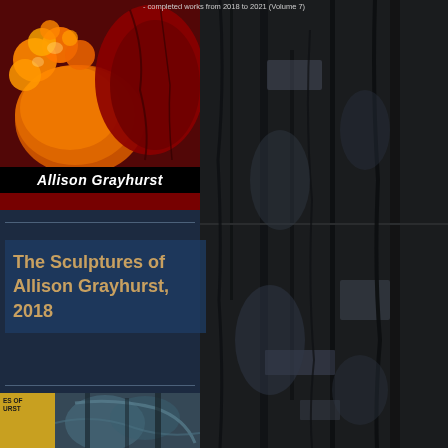[Figure (illustration): Book cover collage page showing two book covers by Allison Grayhurst on the left column against a dark navy blue background. Right half shows dark textured bark background. Top book cover shows orange and red abstract organic shapes with subtitle text '- completed works from 2018 to 2021 (Volume 7)' and author name 'Allison Grayhurst' in italic white on black band. Middle section shows title 'The Sculptures of Allison Grayhurst, 2018' in golden/amber text on dark blue background. Bottom shows partial view of another book with yellow spine.]